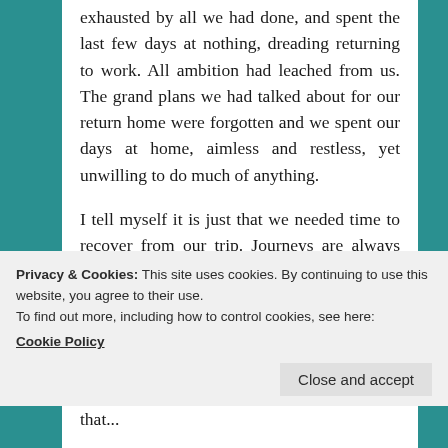exhausted by all we had done, and spent the last few days at nothing, dreading returning to work. All ambition had leached from us. The grand plans we had talked about for our return home were forgotten and we spent our days at home, aimless and restless, yet unwilling to do much of anything.
I tell myself it is just that we needed time to recover from our trip. Journeys are always exhausting, no matter how enjoyable they may be, and that is especially so under the shadow of the grippe reborn, where even the simplest and most pleasurable of activities are haunted by
Privacy & Cookies: This site uses cookies. By continuing to use this website, you agree to their use.
To find out more, including how to control cookies, see here: Cookie Policy
Close and accept
that...